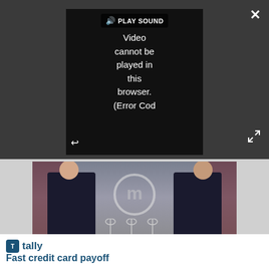[Figure (screenshot): Video player showing error message: 'PLAY SOUND Video cannot be played in this browser. (Error Cod' with close button (X) and fullscreen icon. Dark gray player background.]
[Figure (photo): Two men in dark suits standing in a kitchen set in front of the MasterChef logo. Wine glasses and a MasterChef logo trophy on the table in front of them.]
[Figure (screenshot): Advertisement banner for Tally app. Shows Tally logo with text 'Fast credit card payoff' and a green 'Download Now' button with arrow.]